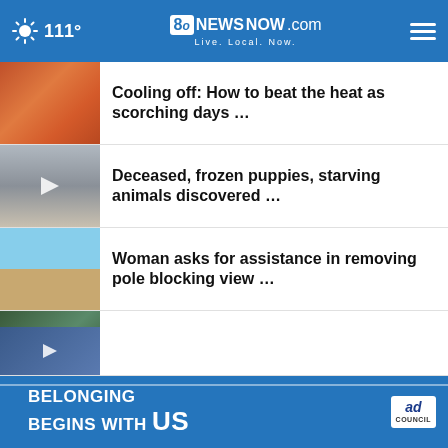111° | 8NewsNow.com | Live. Local. Now.
Cooling off: How to beat the heat as scorching days …
Deceased, frozen puppies, starving animals discovered …
Woman asks for assistance in removing pole blocking view …
Shadow Ridge High School soccer field renamed to …
'Still catching up from COVID': With long wait times, …
BELONGING BEGINS WITH US | ad council | 31